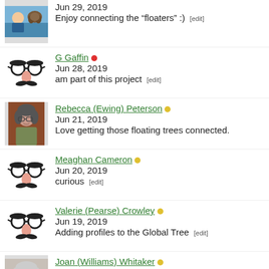Jun 29, 2019 Enjoy connecting the “floaters” :) [edit]
G Gaffin • Jun 28, 2019 am part of this project [edit]
Rebecca (Ewing) Peterson • Jun 21, 2019 Love getting those floating trees connected.
Meaghan Cameron • Jun 20, 2019 curious [edit]
Valerie (Pearse) Crowley • Jun 19, 2019 Adding profiles to the Global Tree [edit]
Joan (Williams) Whitaker • Jun 18, 2019